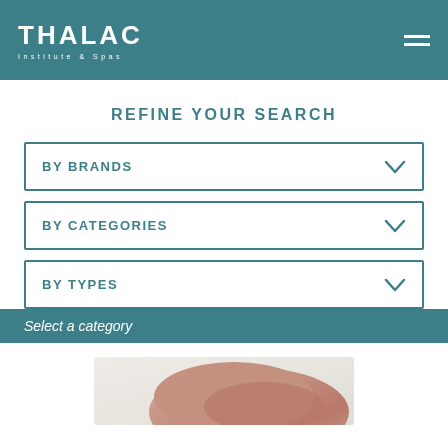THALAC Institute & Spas
REFINE YOUR SEARCH
BY BRANDS
BY CATEGORIES
BY TYPES
Select a category
[Figure (photo): Partial photo of a person, appearing at the bottom of the page]